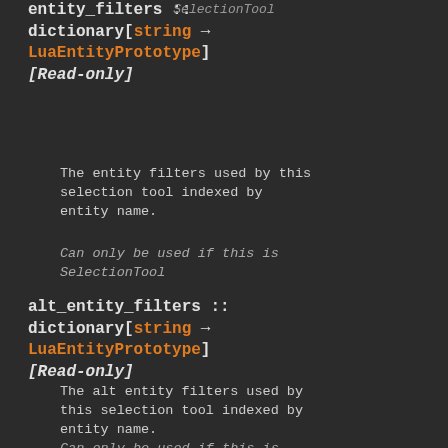SelectionTool
entity_filters :: dictionary[string → LuaEntityPrototype] [Read-only]
The entity filters used by this selection tool indexed by entity name.
Can only be used if this is SelectionTool
alt_entity_filters :: dictionary[string → LuaEntityPrototype] [Read-only]
The alt entity filters used by this selection tool indexed by entity name.
Can only be used if this is SelectionTool